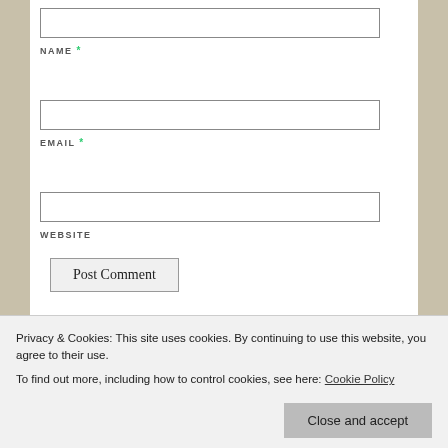NAME *
EMAIL *
WEBSITE
Post Comment
Notify me of new comments via email.
Notify me of new posts via email.
Privacy & Cookies: This site uses cookies. By continuing to use this website, you agree to their use.
To find out more, including how to control cookies, see here: Cookie Policy
Close and accept
speaking